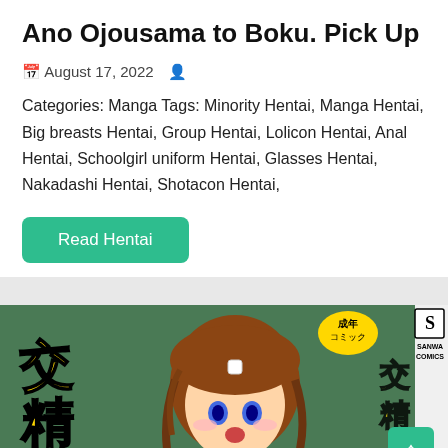Ano Ojousama to Boku. Pick Up
August 17, 2022
Categories: Manga Tags: Minority Hentai, Manga Hentai, Big breasts Hentai, Group Hentai, Lolicon Hentai, Anal Hentai, Schoolgirl uniform Hentai, Glasses Hentai, Nakadashi Hentai, Shotacon Hentai,
Read Hentai
[Figure (illustration): Manga cover image showing anime-style illustration with Japanese text characters. Sanwa Comics branding visible in top right corner with '成年コミック' label.]